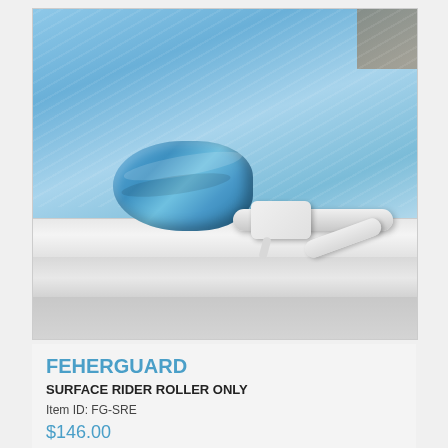[Figure (photo): Photo of a pool surface rider roller mounted on the top rail of an above-ground swimming pool. A blue solar cover is rolled up on the white plastic roller mechanism. The pool water is visible in the background.]
FEHERGUARD
SURFACE RIDER ROLLER ONLY
Item ID: FG-SRE
$146.00